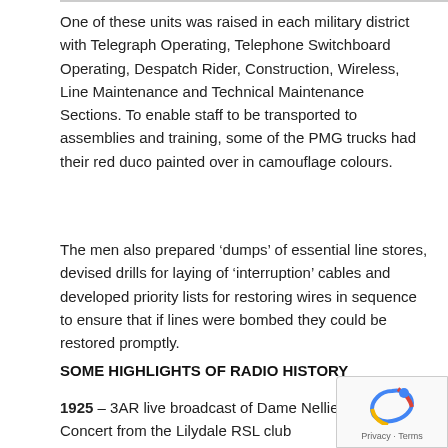One of these units was raised in each military district with Telegraph Operating, Telephone Switchboard Operating, Despatch Rider, Construction, Wireless, Line Maintenance and Technical Maintenance Sections. To enable staff to be transported to assemblies and training, some of the PMG trucks had their red duco painted over in camouflage colours.
The men also prepared ‘dumps’ of essential line stores, devised drills for laying of ‘interruption’ cables and developed priority lists for restoring wires in sequence to ensure that if lines were bombed they could be restored promptly.
SOME HIGHLIGHTS OF RADIO HISTORY
1925 – 3AR live broadcast of Dame Nellie Melba Ch Concert from the Lilydale RSL club